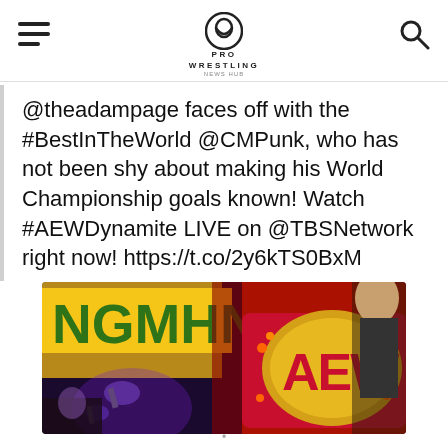PRO WRESTLING News Hub
@theadampage faces off with the #BestInTheWorld @CMPunk, who has not been shy about making his World Championship goals known! Watch #AEWDynamite LIVE on @TBSNetwork right now! https://t.co/2y6kTS0BxM
[Figure (photo): Wrestling event photo showing a man holding or wearing an AEW championship belt, with a yellow 'HANGMAN' banner visible in the background and arena lighting.]